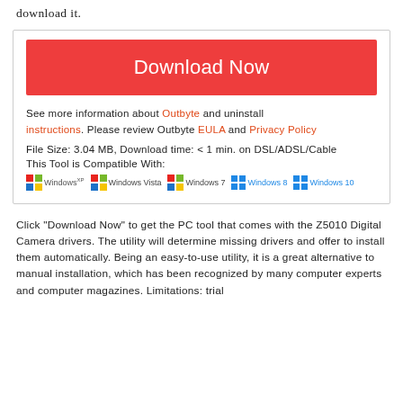download it.
[Figure (screenshot): Download box with red Download Now button, Outbyte links, file info, and Windows compatibility logos]
Click "Download Now" to get the PC tool that comes with the Z5010 Digital Camera drivers. The utility will determine missing drivers and offer to install them automatically. Being an easy-to-use utility, it is a great alternative to manual installation, which has been recognized by many computer experts and computer magazines. Limitations: trial